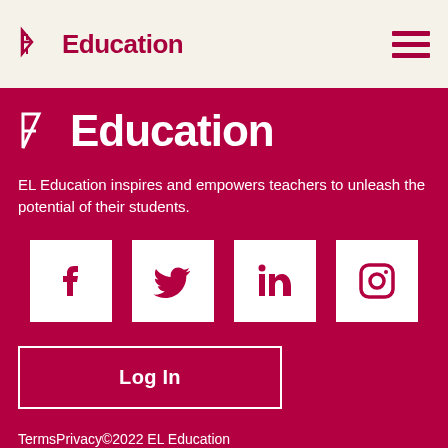[Figure (logo): EL Education logo in header bar on cream/beige background, with hamburger menu icon top right]
[Figure (logo): EL Education logo large white text on dark red background]
EL Education inspires and empowers teachers to unleash the potential of their students.
[Figure (other): Four social media icons (Facebook, Twitter, LinkedIn, Instagram) as white squares with dark red icons]
Log In
TermsPrivacy©2022 EL Education